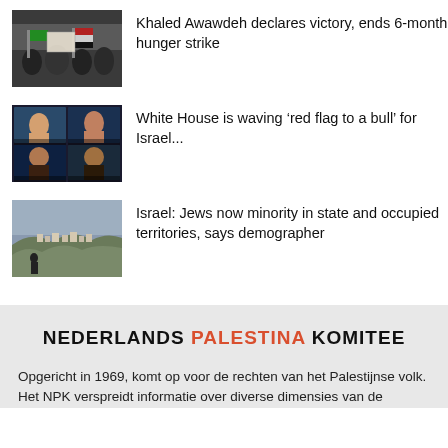Khaled Awawdeh declares victory, ends 6-month hunger strike
[Figure (photo): People holding signs at a protest, Palestinian flags visible]
White House is waving ‘red flag to a bull’ for Israel...
[Figure (screenshot): Video call grid with four participants including two women and two men]
Israel: Jews now minority in state and occupied territories, says demographer
[Figure (photo): Landscape photo of a hillside with buildings, overcast sky]
NEDERLANDS PALESTINA KOMITEE
Opgericht in 1969, komt op voor de rechten van het Palestijnse volk. Het NPK verspreidt informatie over diverse dimensies van de